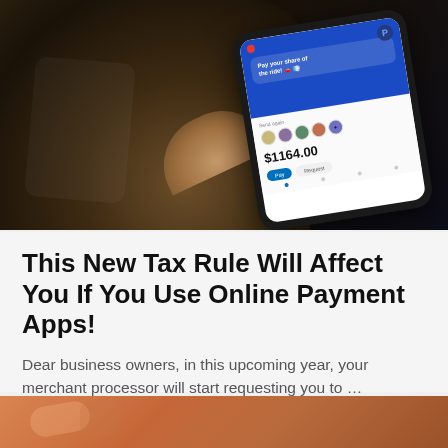[Figure (photo): A person's hand holding a smartphone displaying a payment app (PayPal) interface in a dark setting. The phone screen shows a payment interface with a blue header, user avatars, and an amount of $1164.00.]
This New Tax Rule Will Affect You If You Use Online Payment Apps!
Dear business owners, in this upcoming year, your merchant processor will start requesting you to …
[Figure (photo): Partial photo visible at the bottom of the page, showing what appears to be warm orange/brown tones, likely another article thumbnail.]